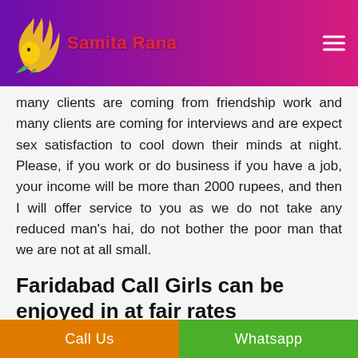Samita Rana
many clients are coming from friendship work and many clients are coming for interviews and are expect sex satisfaction to cool down their minds at night. Please, if you work or do business if you have a job, your income will be more than 2000 rupees, and then I will offer service to you as we do not take any reduced man's hai, do not bother the poor man that we are not at all small.
Faridabad Call Girls can be enjoyed in at fair rates
There is each time a benefit for you all customers to be in close relative to the women here. It is all time improved to have Call Girls in Faridabad. Here they are just well and remarkable to
Call Us    Whatsapp